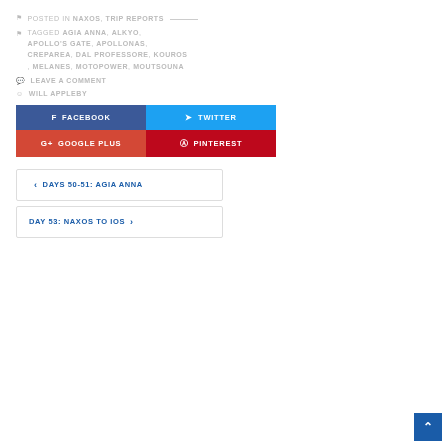POSTED IN NAXOS, TRIP REPORTS
TAGGED AGIA ANNA, ALKYO, APOLLO'S GATE, APOLLONAS, CREPAREA, DAL PROFESSORE, KOUROS, MELANES, MOTOPOWER, MOUTSOUNA
LEAVE A COMMENT
WILL APPLEBY
[Figure (infographic): Social share buttons: Facebook (blue), Twitter (cyan), Google Plus (red-orange), Pinterest (dark red)]
< DAYS 50-51: AGIA ANNA
DAY 53: NAXOS TO IOS >